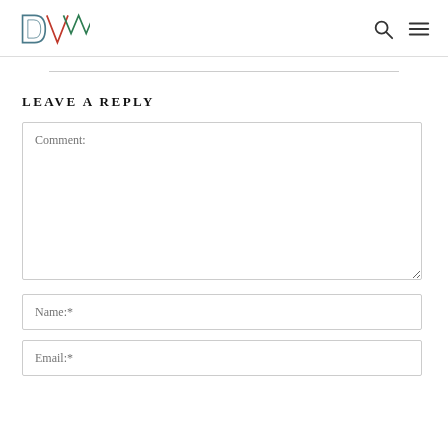DVW logo with search and menu icons
LEAVE A REPLY
Comment:
Name:*
Email:*